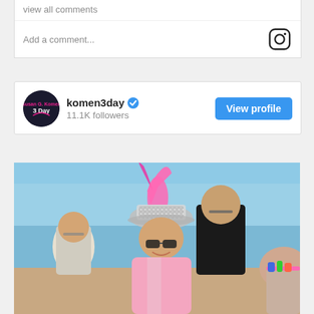view all comments
Add a comment...
komen3day
11.1K followers
View profile
[Figure (photo): Instagram post photo showing an elderly woman in pink outfit with sparkly hat and pink feathered boa at a Susan G. Komen 3-Day event, surrounded by other participants]